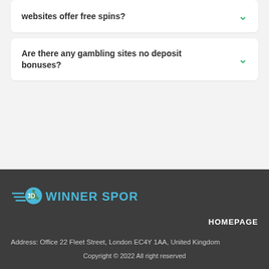websites offer free spins?
Are there any gambling sites no deposit bonuses?
[Figure (logo): 3Winner Sports logo with soccer ball icon and blue text]
HOMEPAGE
Address: Office 22 Fleet Street, London EC4Y 1AA, United Kingdom
Copyright © 2022 All right reserved